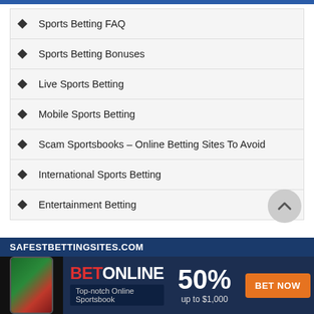Sports Betting FAQ
Sports Betting Bonuses
Live Sports Betting
Mobile Sports Betting
Scam Sportsbooks – Online Betting Sites To Avoid
International Sports Betting
Entertainment Betting
[Figure (infographic): BetOnline advertisement banner: SAFESTBETTINGSITES.COM header, phone image, BET ONLINE logo, Top-notch Online Sportsbook tagline, 50% up to $1,000 offer, BET NOW button]